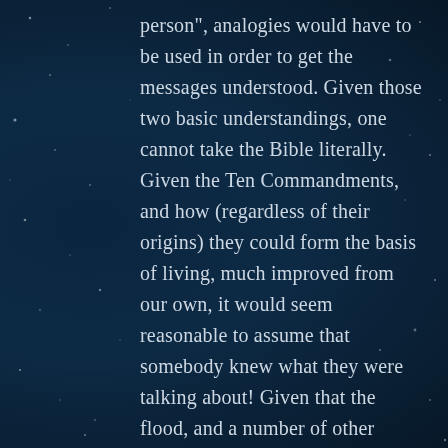person”, analogies would have to be used in order to get the messages understood. Given those two basic understandings, one cannot take the Bible literally. Given the Ten Commandments, and how (regardless of their origins) they could form the basis of living, much improved from our own, it would seem reasonable to assume that somebody knew what they were talking about! Given that the flood, and a number of other events, are recorded in the texts of other religions, it is not illogical to